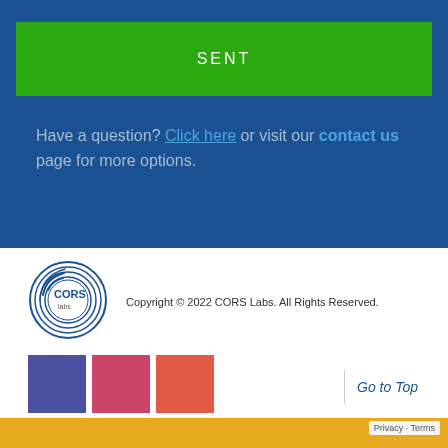SENT
Have a question? Click here or visit our contact us page for more options.
[Figure (logo): CORS Labs circular logo with concentric rings and wifi-style signal arcs]
Copyright © 2022 CORS Labs. All Rights Reserved.
[Figure (other): Three social media icon squares: purple (Facebook), pink/red (Pinterest), orange-red (Google+)]
Go to Top
Privacy · Terms